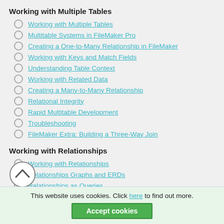Working with Multiple Tables
Working with Multiple Tables
Multitable Systems in FileMaker Pro
Creating a One-to-Many Relationship in FileMaker
Working with Keys and Match Fields
Understanding Table Context
Working with Related Data
Creating a Many-to-Many Relationship
Relational Integrity
Rapid Multitable Development
Troubleshooting
FileMaker Extra: Building a Three-Way Join
Working with Relationships
Working with Relationships
Relationships Graphs and ERDs
Relationships as Queries
Creating Self-Relationships
Creating Ranged Relationships
This website uses cookies. Click here to find out more. Accept cookies